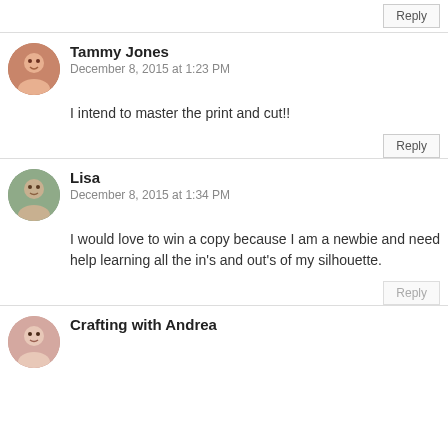Reply
Tammy Jones
December 8, 2015 at 1:23 PM
I intend to master the print and cut!!
Reply
Lisa
December 8, 2015 at 1:34 PM
I would love to win a copy because I am a newbie and need help learning all the in's and out's of my silhouette.
Reply
Crafting with Andrea